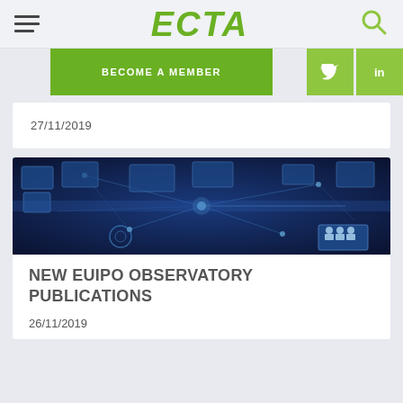ECTA
BECOME A MEMBER
27/11/2019
[Figure (photo): Dark blue digital network visualization with glowing connection nodes and screens]
NEW EUIPO OBSERVATORY PUBLICATIONS
26/11/2019